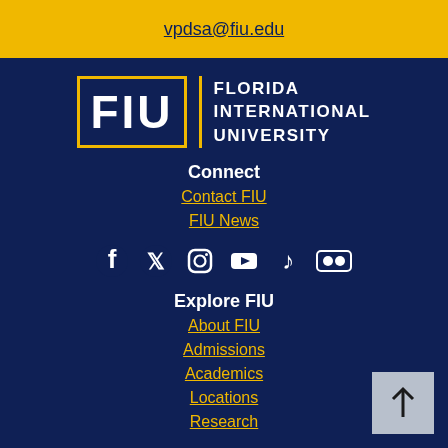vpdsa@fiu.edu
[Figure (logo): FIU - Florida International University logo on dark navy background]
Connect
Contact FIU
FIU News
[Figure (infographic): Social media icons: Facebook, Twitter, Instagram, YouTube, TikTok, Flickr]
Explore FIU
About FIU
Admissions
Academics
Locations
Research